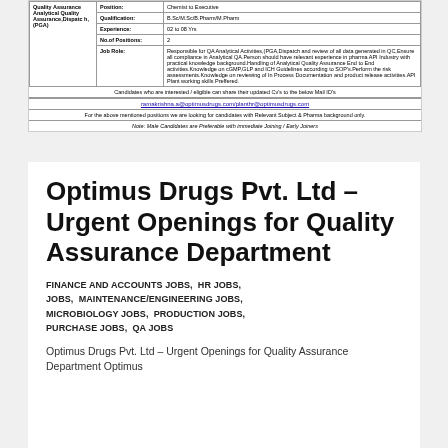| Department | Field | Value |
| --- | --- | --- |
| Quality Assurance Analytical Quality Assurance,Dispatc h,(PGA) | Position: | Chemist to Executive |
|  | Qualification: | B.Sc/M.Sc/B.Pharm/M.Pharm |
|  | Experience: | 02 to 08 Yrs |
|  | No.of Positions: | 2 |
|  | Job Role: | Responsible for QA Analytical Activities,(PGA,Dispatch and review of all data generated in QC,Ensure all compliance in Analytical QA.Person should have relevant experience in pharma API Industry with practical knowledge background.Handling of Analytical Quality Assurance End to End activities.Knowledge on cGMP,GLP and ICH Guidelines according to SOP's.Perform the risk assessments.Knowledge on reviewing of In Process Documentation and product release activities.API Plant working skills Preffered. |
Candidates who are interested / eligible can share their updated Cv's to the below Mail ID's
ramakrishna.a@optimusdrugs.com/planthr@optimusdrugs.com
For the above mentioned positions we are looking for candidates with Relevant Subject & Pharma background only.
Note: Male Candidates are Preferable with immediate Joining / Early Joiners
Optimus Drugs Pvt. Ltd – Urgent Openings for Quality Assurance Department
FINANCE AND ACCOUNTS JOBS,  HR JOBS,  JOBS,  MAINTENANCE/ENGINEERING JOBS,  MICROBIOLOGY JOBS,  PRODUCTION JOBS,  PURCHASE JOBS,  QA JOBS
Optimus Drugs Pvt. Ltd – Urgent Openings for Quality Assurance Department Optimus